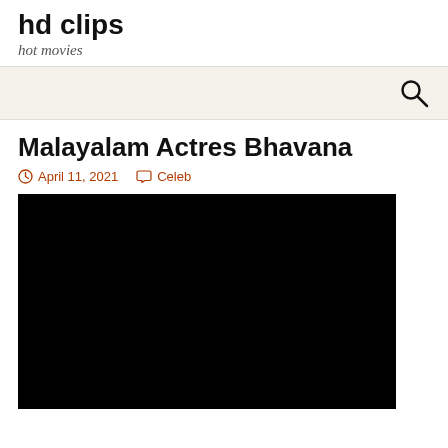hd clips
hot movies
Malayalam Actres Bhavana
April 11, 2021   Celeb
[Figure (photo): Black video player area]